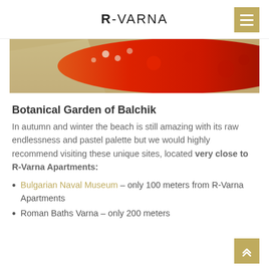R-VARNA
[Figure (photo): A colorful flower bed with red and white flowers in a garden, viewed from above, with a stone path visible.]
Botanical Garden of Balchik
In autumn and winter the beach is still amazing with its raw endlessness and pastel palette but we would highly recommend visiting these unique sites, located very close to R-Varna Apartments:
Bulgarian Naval Museum – only 100 meters from R-Varna Apartments
Roman Baths Varna – only 200 meters